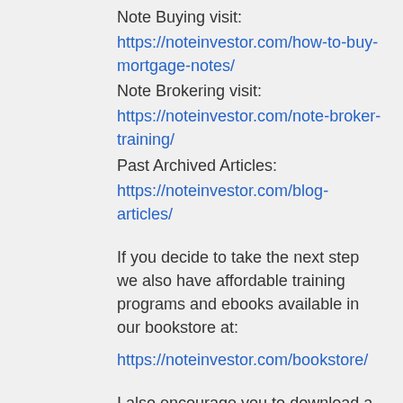Note Buying visit:
https://noteinvestor.com/how-to-buy-mortgage-notes/
Note Brokering visit:
https://noteinvestor.com/note-broker-training/
Past Archived Articles:
https://noteinvestor.com/blog-articles/
If you decide to take the next step we also have affordable training programs and ebooks available in our bookstore at:
https://noteinvestor.com/bookstore/
I also encourage you to download a copy of our free ebook on the 5 Ways To Cash In On Notes from the book cover quick link on